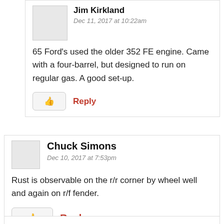Jim Kirkland
Dec 11, 2017 at 10:22am
65 Ford's used the older 352 FE engine. Came with a four-barrel, but designed to run on regular gas. A good set-up.
Reply
Chuck Simons
Dec 10, 2017 at 7:53pm
Rust is observable on the r/r corner by wheel well and again on r/f fender.
Reply